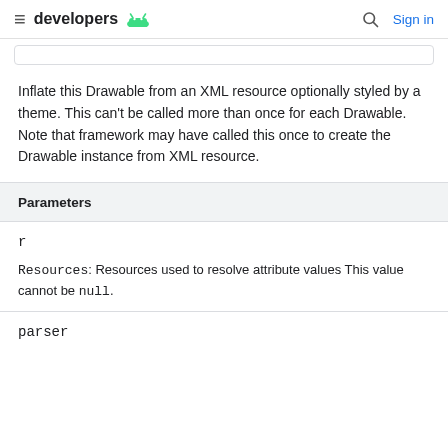developers
Inflate this Drawable from an XML resource optionally styled by a theme. This can't be called more than once for each Drawable. Note that framework may have called this once to create the Drawable instance from XML resource.
| Parameters |
| --- |
| r | Resources: Resources used to resolve attribute values This value cannot be null. |
| parser |  |
parser